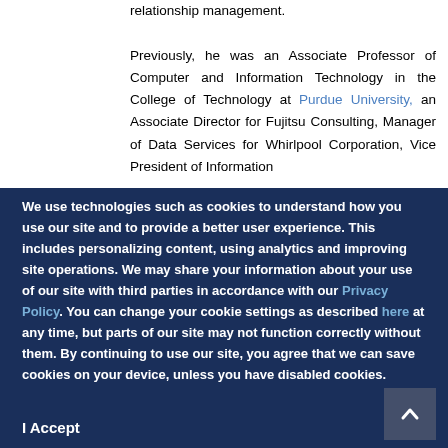relationship management. Previously, he was an Associate Professor of Computer and Information Technology in the College of Technology at Purdue University, an Associate Director for Fujitsu Consulting, Manager of Data Services for Whirlpool Corporation, Vice President of Information
We use technologies such as cookies to understand how you use our site and to provide a better user experience. This includes personalizing content, using analytics and improving site operations. We may share your information about your use of our site with third parties in accordance with our Privacy Policy. You can change your cookie settings as described here at any time, but parts of our site may not function correctly without them. By continuing to use our site, you agree that we can save cookies on your device, unless you have disabled cookies.
I Accept